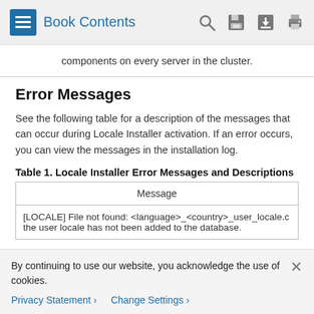Book Contents
components on every server in the cluster.
Error Messages
See the following table for a description of the messages that can occur during Locale Installer activation. If an error occurs, you can view the messages in the installation log.
Table 1. Locale Installer Error Messages and Descriptions
| Message |
| --- |
| [LOCALE] File not found: <language>_<country>_user_locale.c the user locale has not been added to the database. |
By continuing to use our website, you acknowledge the use of cookies.
Privacy Statement > Change Settings >